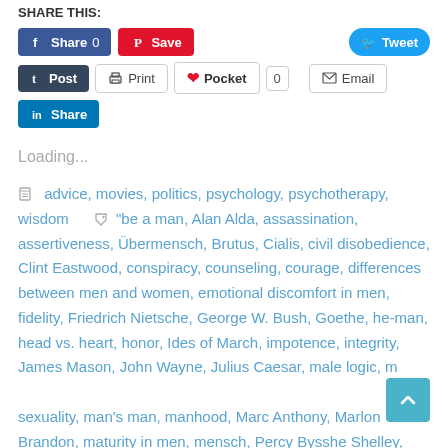SHARE THIS:
[Figure (screenshot): Social sharing buttons row 1: Facebook Share 0, Pinterest Save, Twitter Tweet]
[Figure (screenshot): Social sharing buttons row 2: Tumblr Post, Print, Pocket 0, Email]
[Figure (screenshot): Social sharing button row 3: LinkedIn Share]
Loading...
advice, movies, politics, psychology, psychotherapy, wisdom   "be a man, Alan Alda, assassination, assertiveness, Übermensch, Brutus, Cialis, civil disobedience, Clint Eastwood, conspiracy, counseling, courage, differences between men and women, emotional discomfort in men, fidelity, Friedrich Nietsche, George W. Bush, Goethe, he-man, head vs. heart, honor, Ides of March, impotence, integrity, James Mason, John Wayne, Julius Caesar, male logic, m... sexuality, man's man, manhood, Marc Anthony, Marlon Brandon, maturity in men, mensch, Percy Bysshe Shelley, performance anxiety, Prometheus Unbound, psychology,